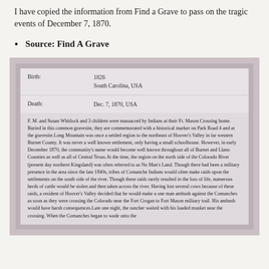I have copied the information from Find a Grave to pass on the tragic events of December 7, 1870.
Source: Find A Grave
[Figure (screenshot): Screenshot of a Find A Grave record showing Birth: 1826, South Carolina, USA; Death: Dec. 7, 1870, USA; and a text description about F. M. and Susan Whitlock and 3 children being massacred by Indians at their Ft. Mason Crossing home, with historical context about Long Mountain and Comanche raids in Burnet County, Texas.]